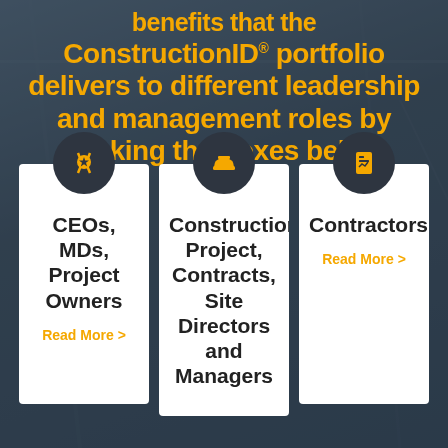ConstructionID® portfolio delivers to different leadership and management roles by clicking the boxes below
[Figure (infographic): Three clickable card panels with icons: medal/star icon (CEOs, MDs, Project Owners), hard hat icon (Construction Project, Contract, Site Directors and Managers), document/report icon (Contractors). Each card has a dark circular icon at top and a 'Read More >' link.]
CEOs, MDs, Project Owners — Read More >
Construction Project, Contract, Site Directors and Managers — Read More >
Contractors — Read More >